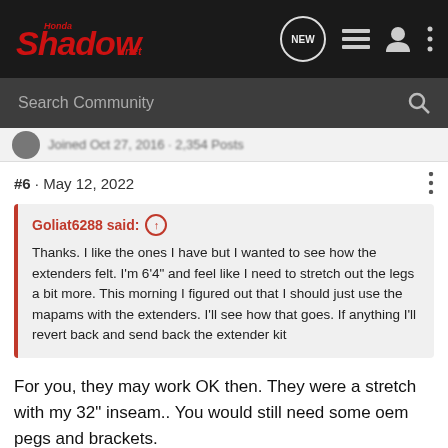Honda Shadow .net — navigation bar with logo, NEW button, list icon, user icon, menu icon
Search Community
Joined Oct 27, 2016 · 2,354 Posts
#6 · May 12, 2022
Goliat6288 said: ↑
Thanks. I like the ones I have but I wanted to see how the extenders felt. I'm 6'4" and feel like I need to stretch out the legs a bit more. This morning I figured out that I should just use the mapams with the extenders. I'll see how that goes. If anything I'll revert back and send back the extender kit
For you, they may work OK then. They were a stretch with my 32" inseam.. You would still need some oem pegs and brackets.
If still interested, I have 2 sets of the extenders laying around.